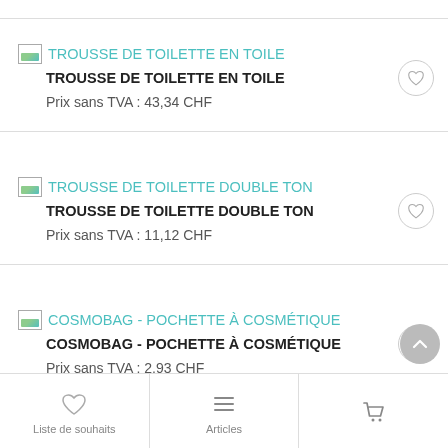TROUSSE DE TOILETTE EN TOILE
Prix sans TVA : 43,34 CHF
TROUSSE DE TOILETTE DOUBLE TON
Prix sans TVA : 11,12 CHF
COSMOBAG - POCHETTE À COSMÉTIQUE
Prix sans TVA : 2,93 CHF
Liste de souhaits    Articles